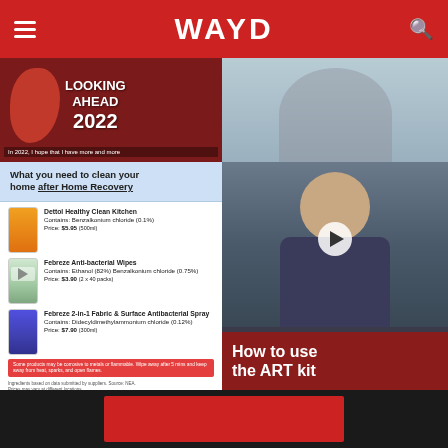WAYD
[Figure (screenshot): Top-left thumbnail showing person in red with text overlay 'LOOKING AHEAD 2022' and caption 'In 2022, I hope that I have more and more']
[Figure (screenshot): Top-right thumbnail showing person in light blue top]
[Figure (infographic): What you need to clean your home after Home Recovery - product list card with Dettol Healthy Clean Kitchen, Febreze Anti-bacterial Wipes, Febreze 2-in-1 Fabric & Surface Antibacterial Spray]
What you need to clean your home after Home Recovery
Dettol Healthy Clean Kitchen
Contains: Benzalkonium chloride (0.1%)
Price: $5.95 (500ml)
Febreze Anti-bacterial Wipes
Contains: Ethanol (82%) Benzalkonium chloride (0.75%)
Price: $3.90 (2 x 40 packs)
Febreze 2-in-1 Fabric & Surface Antibacterial Spray
Contains: Didecyldimethylammonium chloride (0.12%)
Price: $7.90 (300ml)
Some products may be corrosive to metals or flammable. Wipe away after 5 mins and keep away from heat, sparks, and open flames.
Ingredients based on data submitted by suppliers. Source: NEA. Prices may vary at different locations.
[Figure (screenshot): Video thumbnail of male person in dark t-shirt with play button overlay and text 'How to use the ART kit']
How to use the ART kit